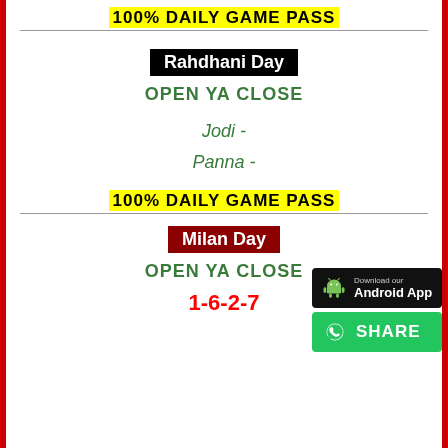100% DAILY GAME PASS
Rahdhani Day
OPEN YA CLOSE
Jodi -
Panna -
100% DAILY GAME PASS
[Figure (other): Download our Android App button]
[Figure (other): WhatsApp SHARE button]
Milan Day
OPEN YA CLOSE
1-6-2-7